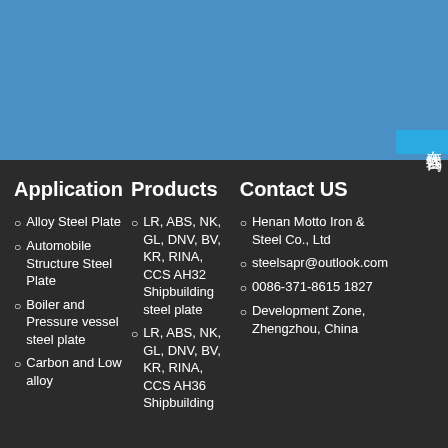Application
Alloy Steel Plate
Automobile Structure Steel Plate
Boiler and Pressure vessel steel plate
Carbon and Low alloy
Products
LR, ABS, NK, GL, DNV, BV, KR, RINA, CCS AH32 Shipbuilding steel plate
LR, ABS, NK, GL, DNV, BV, KR, RINA, CCS AH36 Shipbuilding
Contact US
Henan Motto Iron & Steel Co., Ltd
steelsapr@outlook.com
0086-371-8615 1827
Development Zone, Zhengzhou, China